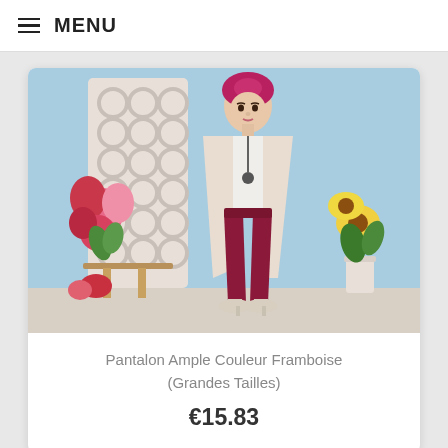≡ MENU
[Figure (photo): Fashion product photo: a woman wearing a raspberry/dark red wide-leg trousers (Grandes Tailles) and a long beige cardigan, with a pink turban headscarf, standing in a styled room with flowers and a blue background.]
Pantalon Ample Couleur Framboise (Grandes Tailles)
€15.83